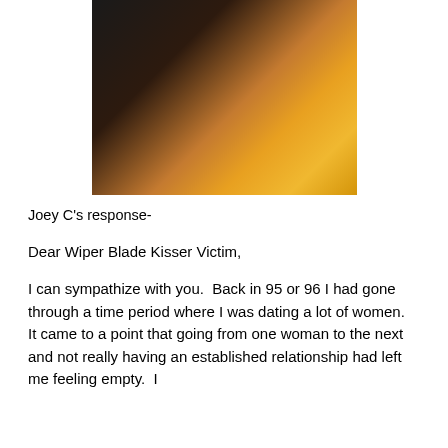[Figure (photo): Two people about to kiss, one in a black shirt and one in a yellow shirt, with a dark background.]
Joey C's response-
Dear Wiper Blade Kisser Victim,
I can sympathize with you.  Back in 95 or 96 I had gone through a time period where I was dating a lot of women.  It came to a point that going from one woman to the next and not really having an established relationship had left me feeling empty.  I